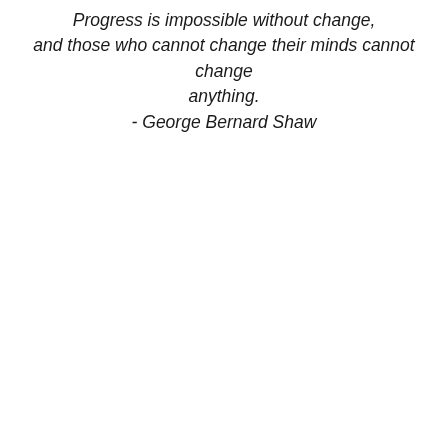Progress is impossible without change, and those who cannot change their minds cannot change anything. - George Bernard Shaw